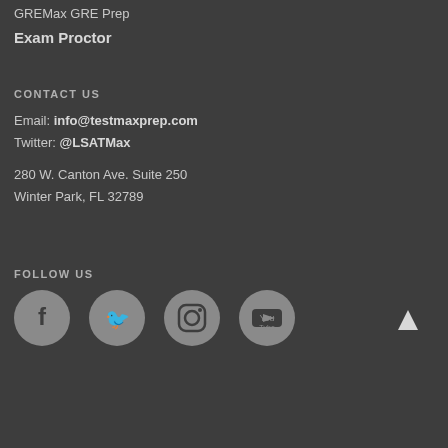GREMax GRE Prep
Exam Proctor
CONTACT US
Email: info@testmaxprep.com
Twitter: @LSATMax
280 W. Canton Ave. Suite 250
Winter Park, FL 32789
FOLLOW US
[Figure (illustration): Four social media icon circles: Facebook, Twitter, Instagram, YouTube. An up-arrow icon on the right.]